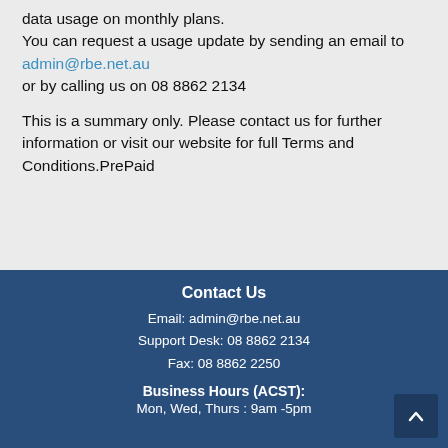data usage on monthly plans.
You can request a usage update by sending an email to admin@rbe.net.au
or by calling us on 08 8862 2134
This is a summary only. Please contact us for further information or visit our website for full Terms and Conditions.PrePaid
Contact Us
Email: admin@rbe.net.au
Support Desk: 08 8862 2134
Fax: 08 8862 2250
Business Hours (ACST):
Mon, Wed, Thurs : 9am -5pm